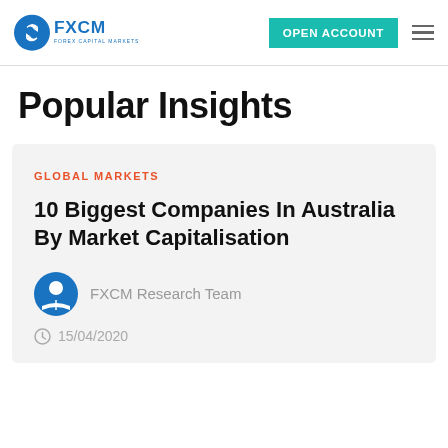FXCM | OPEN ACCOUNT
Popular Insights
GLOBAL MARKETS
10 Biggest Companies In Australia By Market Capitalisation
FXCM Research Team
15/04/2020